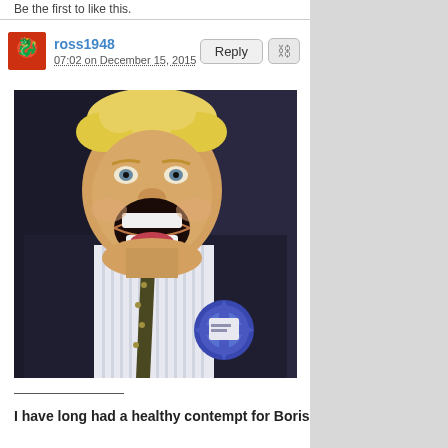Be the first to like this.
ross1948
07:02 on December 15, 2015
[Figure (photo): Photo of Boris Johnson with mouth wide open yawning/shouting, wearing a dark suit with a striped shirt and patterned tie, with a blue Conservative Party rosette on his lapel. He has disheveled blonde hair.]
I have long had a healthy contempt for Boris